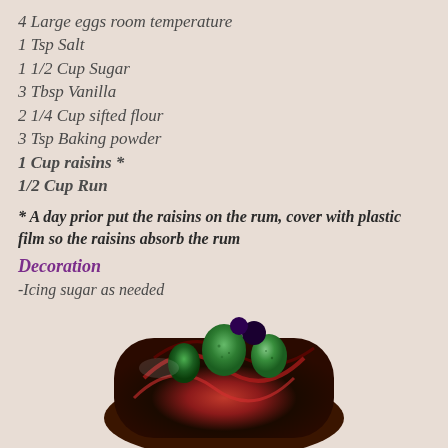4 Large eggs room temperature
1 Tsp Salt
1 1/2 Cup Sugar
3 Tbsp Vanilla
2 1/4 Cup sifted flour
3 Tsp Baking powder
1 Cup raisins *
1/2 Cup Run
* A day prior put the raisins on the rum, cover with plastic film so the raisins absorb the rum
Decoration
-Icing sugar as needed
[Figure (photo): A decorated cake or baked good with dark swirling glaze in red and black tones, topped with green egg-shaped decorations that have a rough, mossy texture, presented on a light surface]